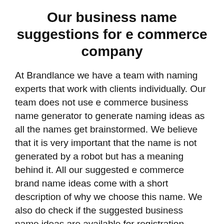Our business name suggestions for e commerce company
At Brandlance we have a team with naming experts that work with clients individually. Our team does not use e commerce business name generator to generate naming ideas as all the names get brainstormed. We believe that it is very important that the name is not generated by a robot but has a meaning behind it. All our suggested e commerce brand name ideas come with a short description of why we choose this name. We also do check if the suggested business name ideas are available for registration.